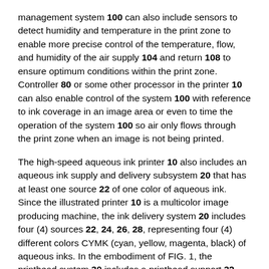management system 100 can also include sensors to detect humidity and temperature in the print zone to enable more precise control of the temperature, flow, and humidity of the air supply 104 and return 108 to ensure optimum conditions within the print zone. Controller 80 or some other processor in the printer 10 can also enable control of the system 100 with reference to ink coverage in an image area or even to time the operation of the system 100 so air only flows through the print zone when an image is not being printed.
The high-speed aqueous ink printer 10 also includes an aqueous ink supply and delivery subsystem 20 that has at least one source 22 of one color of aqueous ink. Since the illustrated printer 10 is a multicolor image producing machine, the ink delivery system 20 includes four (4) sources 22, 24, 26, 28, representing four (4) different colors CYMK (cyan, yellow, magenta, black) of aqueous inks. In the embodiment of FIG. 1, the printhead system 30 includes a printhead support 32, which provides support for a plurality of printhead modules, also known as print box units, 34A through 34D. Each printhead module 34A-34D effectively extends across the width of the blanket